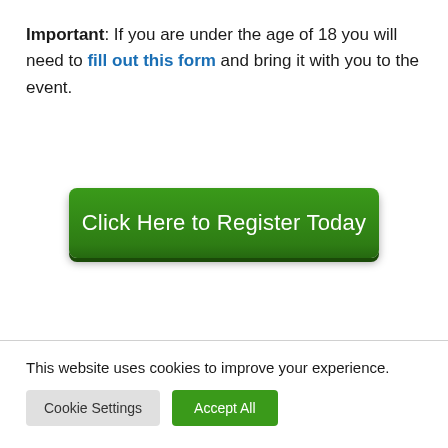Important: If you are under the age of 18 you will need to fill out this form and bring it with you to the event.
[Figure (other): Green button labeled 'Click Here to Register Today']
This website uses cookies to improve your experience.
Cookie Settings | Accept All